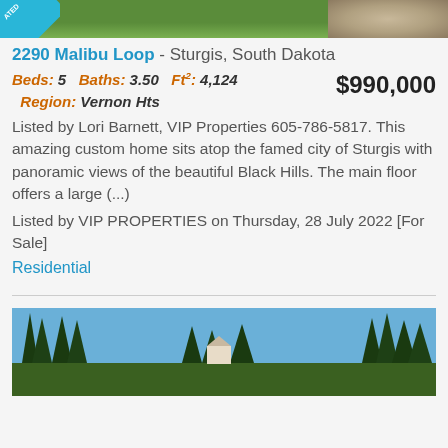[Figure (photo): Top cropped photo of a property with green lawn and gravel area, with an 'UPDATED' badge in the top-left corner]
2290 Malibu Loop - Sturgis, South Dakota
Beds: 5   Baths: 3.50   Ft²: 4,124   $990,000   Region: Vernon Hts
Listed by Lori Barnett, VIP Properties 605-786-5817. This amazing custom home sits atop the famed city of Sturgis with panoramic views of the beautiful Black Hills. The main floor offers a large (...)
Listed by VIP PROPERTIES on Thursday, 28 July 2022 [For Sale]
Residential
[Figure (photo): Bottom photo showing tall pine/fir trees against a blue sky with a structure partially visible in the background]